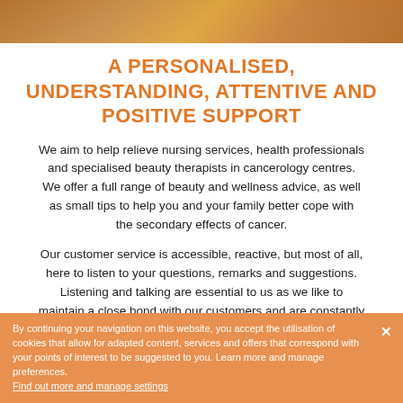[Figure (photo): Partial photo strip at top of page showing warm orange/brown tones, appears to be a person or animal, cropped to a horizontal banner]
A PERSONALISED, UNDERSTANDING, ATTENTIVE AND POSITIVE SUPPORT
We aim to help relieve nursing services, health professionals and specialised beauty therapists in cancerology centres. We offer a full range of beauty and wellness advice, as well as small tips to help you and your family better cope with the secondary effects of cancer.
Our customer service is accessible, reactive, but most of all, here to listen to your questions, remarks and suggestions. Listening and talking are essential to us as we like to maintain a close bond with our customers and are constantly
By continuing your navigation on this website, you accept the utilisation of cookies that allow for adapted content, services and offers that correspond with your points of interest to be suggested to you. Learn more and manage preferences.
Find out more and manage settings